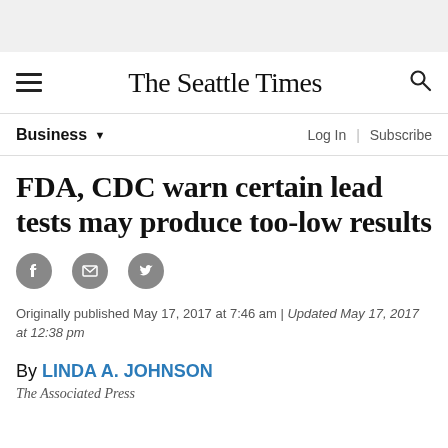The Seattle Times
Business
FDA, CDC warn certain lead tests may produce too-low results
Originally published May 17, 2017 at 7:46 am | Updated May 17, 2017 at 12:38 pm
By LINDA A. JOHNSON
The Associated Press